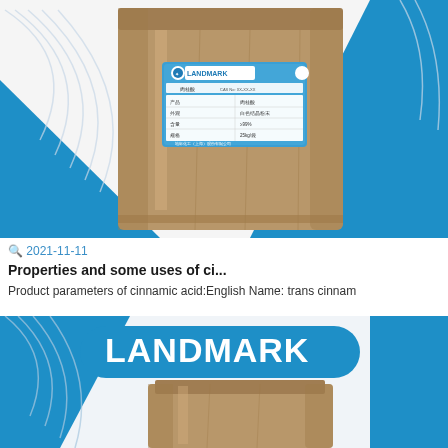[Figure (photo): Large brown kraft paper bag with LANDMARK blue label, on blue and white background]
🔍 2021-11-11
Properties and some uses of ci...
Product parameters of cinnamic acid:English Name: trans cinnam
[Figure (photo): LANDMARK logo on blue rounded banner above brown paper bag, on blue and white background]